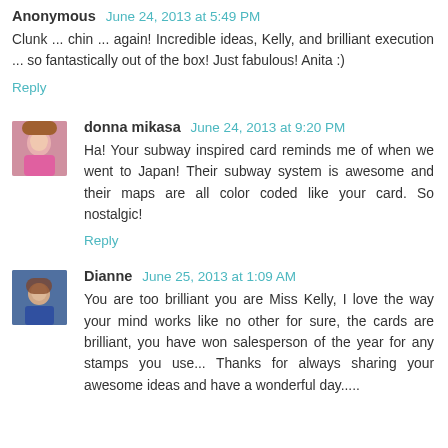Anonymous  June 24, 2013 at 5:49 PM
Clunk ... chin ... again! Incredible ideas, Kelly, and brilliant execution ... so fantastically out of the box! Just fabulous! Anita :)
Reply
donna mikasa  June 24, 2013 at 9:20 PM
Ha! Your subway inspired card reminds me of when we went to Japan! Their subway system is awesome and their maps are all color coded like your card. So nostalgic!
Reply
Dianne  June 25, 2013 at 1:09 AM
You are too brilliant you are Miss Kelly, I love the way your mind works like no other for sure, the cards are brilliant, you have won salesperson of the year for any stamps you use... Thanks for always sharing your awesome ideas and have a wonderful day.....